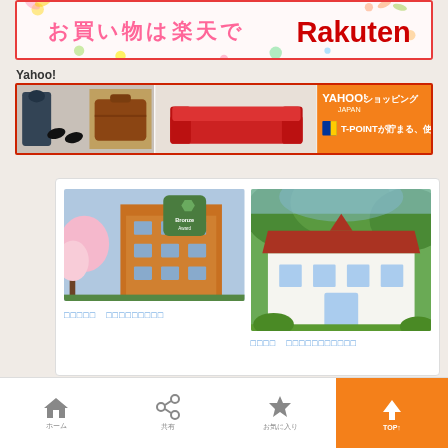[Figure (screenshot): Rakuten shopping banner with Japanese text 'お買い物は楽天で' and Rakuten logo]
Yahoo!
[Figure (screenshot): Yahoo! Japan Shopping banner with product images (clothing, handbags, sofa, food) and T-POINT logo]
[Figure (screenshot): Mobile app screen showing two hotel listings with photos. Left: hotel building with cherry blossoms and a Bronze Award badge. Right: white house-style accommodation surrounded by trees. Both have Japanese text links below.]
[Figure (screenshot): Bottom navigation bar with home icon (ホーム), share icon (共有), favorites star icon (お気に入り), and orange TOP↑ button]